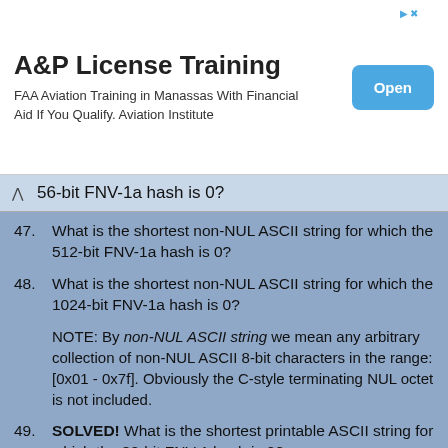[Figure (other): Advertisement banner: A&P License Training. FAA Aviation Training in Manassas With Financial Aid If You Qualify. Aviation Institute. Open button.]
56-bit FNV-1a hash is 0?
47. What is the shortest non-NUL ASCII string for which the 512-bit FNV-1a hash is 0?
48. What is the shortest non-NUL ASCII string for which the 1024-bit FNV-1a hash is 0?
NOTE: By non-NUL ASCII string we mean any arbitrary collection of non-NUL ASCII 8-bit characters in the range: [0x01 - 0x7f]. Obviously the C-style terminating NUL octet is not included.
49. SOLVED! What is the shortest printable ASCII string for which the 32-bit FNV-1 hash is 0?
32-bit hash solution by Russ Cox < rsc@swtch.com> on 2011-Mar-02:
The solutions of length 5 are: